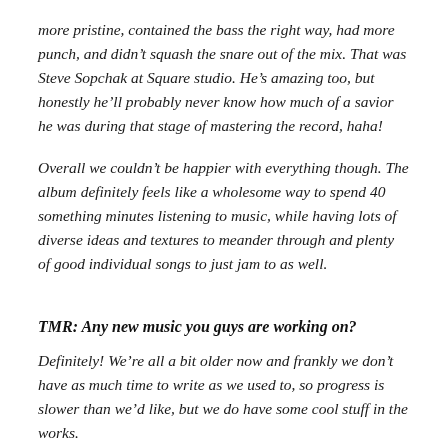more pristine, contained the bass the right way, had more punch, and didn't squash the snare out of the mix. That was Steve Sopchak at Square studio. He's amazing too, but honestly he'll probably never know how much of a savior he was during that stage of mastering the record, haha!
Overall we couldn't be happier with everything though. The album definitely feels like a wholesome way to spend 40 something minutes listening to music, while having lots of diverse ideas and textures to meander through and plenty of good individual songs to just jam to as well.
TMR: Any new music you guys are working on?
Definitely! We're all a bit older now and frankly we don't have as much time to write as we used to, so progress is slower than we'd like, but we do have some cool stuff in the works.